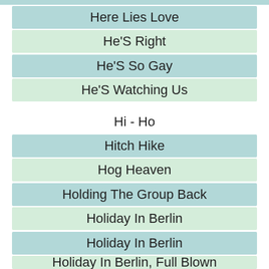Here Lies Love
He'S Right
He'S So Gay
He'S Watching Us
Hi - Ho
Hitch Hike
Hog Heaven
Holding The Group Back
Holiday In Berlin
Holiday In Berlin
Holiday In Berlin, Full Blown